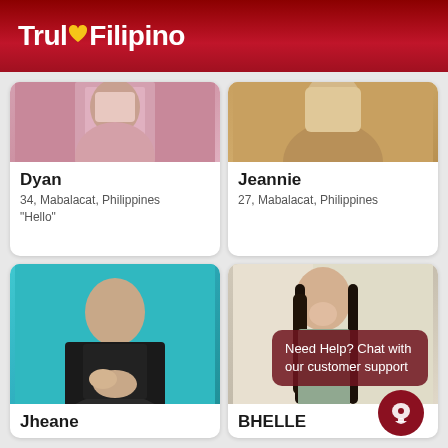TrulyFilipino
[Figure (photo): Profile photo of Dyan, partially visible, pink background]
Dyan
34, Mabalacat, Philippines
"Hello"
[Figure (photo): Profile photo of Jeannie, partially visible, warm toned background]
Jeannie
27, Mabalacat, Philippines
[Figure (photo): Profile photo of Jheane, woman in black shirt against teal background]
Jheane
[Figure (photo): Profile photo of BHELLE, woman smiling with long hair, light background]
BHELLE
Need Help? Chat with our customer support